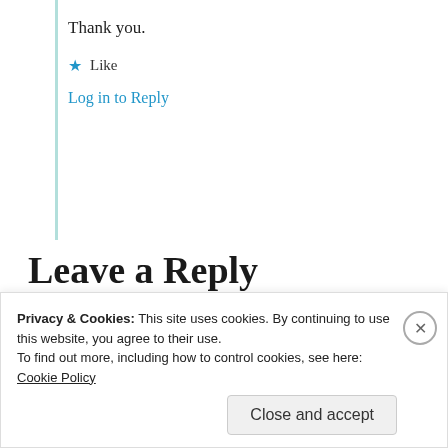Thank you.
★ Like
Log in to Reply
Leave a Reply
You must be logged in to post a comment.
Privacy & Cookies: This site uses cookies. By continuing to use this website, you agree to their use. To find out more, including how to control cookies, see here: Cookie Policy
Close and accept